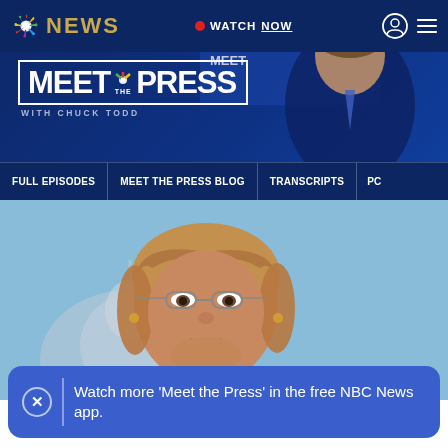NBC NEWS
[Figure (screenshot): NBC News Meet the Press website header with dark blue background, NBC peacock logo, NEWS text in gold, WATCH NOW button with red dot, user icon and hamburger menu. Meet the Press with Chuck Todd logo in white bordered box. Navigation bar with FULL EPISODES, MEET THE PRESS BLOG, TRANSCRIPTS, PC tabs.]
[Figure (photo): Woman (Elizabeth Warren) in foreground with glasses, looking upward, with blurred US Capitol dome in background against blue sky.]
Watch more 'Meet the Press' in the free NBC News app.